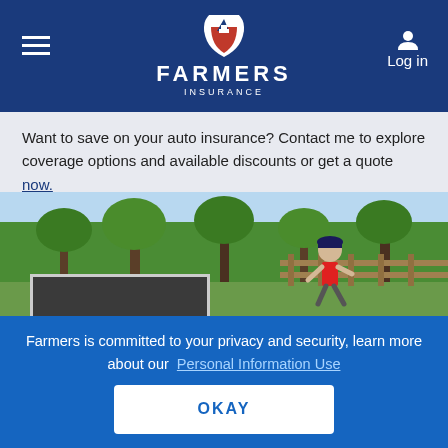FARMERS INSURANCE
Want to save on your auto insurance? Contact me to explore coverage options and available discounts or get a quote now.
[Figure (photo): Outdoor hero image showing people running on a trail surrounded by green trees and a wooden fence]
[Figure (photo): Portrait photo of Lily Davis, a woman with long brown hair, smiling, against a dark background]
LILY DAVIS
Farmers Life Insurance Agent in Gilbert, AZ
Farmers is committed to your privacy and security, learn more about our Personal Information Use
OKAY